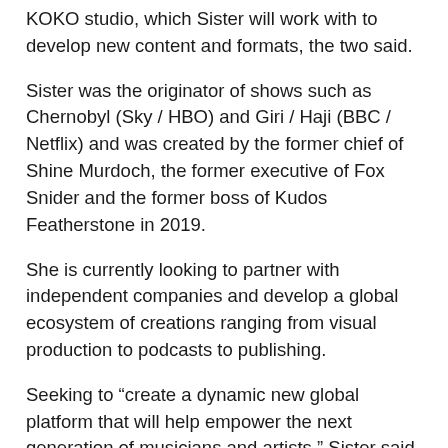KOKO studio, which Sister will work with to develop new content and formats, the two said.
Sister was the originator of shows such as Chernobyl (Sky / HBO) and Giri / Haji (BBC / Netflix) and was created by the former chief of Shine Murdoch, the former executive of Fox Snider and the former boss of Kudos Featherstone in 2019.
She is currently looking to partner with independent companies and develop a global ecosystem of creations ranging from visual production to podcasts to publishing.
Seeking to “create a dynamic new global platform that will help empower the next generation of musicians and artists,” Sister said she would leverage her network of creators and production expertise as part of her involvement with KOKO.
Artists who have performed at KOKO over the years include Prince, Kanye West, Nick Cave & The Bad Seeds, Amy Winehouse,